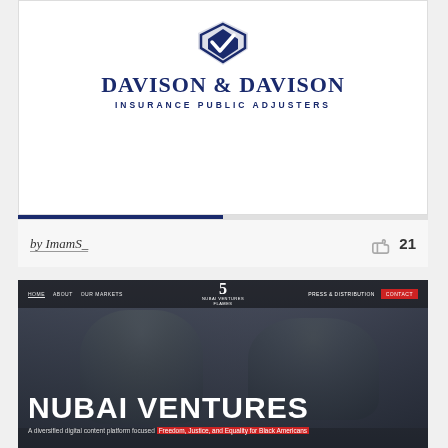[Figure (logo): Davison & Davison Insurance Public Adjusters logo with blue diamond/shield shape above the company name]
by ImamS_
21
[Figure (screenshot): Screenshot of Nubai Ventures website showing two smiling men in suits on a dark overlay background, with navigation bar including HOME, ABOUT, OUR MARKETS, 5 NUBAI VENTURES FLAMES logo, PRESS & DISTRIBUTION, and CONTACT button. Large white bold text reads NUBAI VENTURES with subtitle: A diversified digital content platform focused Freedom, Justice, and Equality for Black Americans]